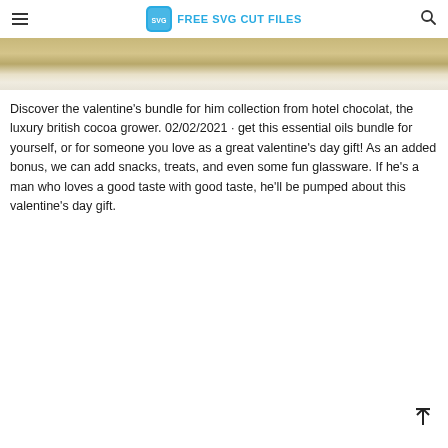FREE SVG CUT FILES
[Figure (photo): Partial image showing a wooden or textured surface with gold/tan tones, cropped at top of page]
Discover the valentine's bundle for him collection from hotel chocolat, the luxury british cocoa grower. 02/02/2021 · get this essential oils bundle for yourself, or for someone you love as a great valentine's day gift! As an added bonus, we can add snacks, treats, and even some fun glassware. If he's a man who loves a good taste with good taste, he'll be pumped about this valentine's day gift.